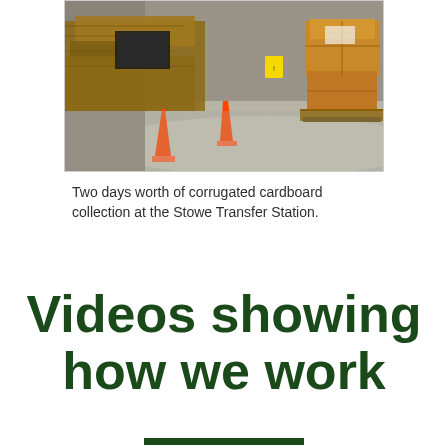[Figure (photo): Interior of a warehouse/transfer station with orange safety cones on the floor, large piles of corrugated cardboard and boxes stacked against the wall, and a yellow caution sign visible in the background.]
Two days worth of corrugated cardboard collection at the Stowe Transfer Station.
Videos showing how we work